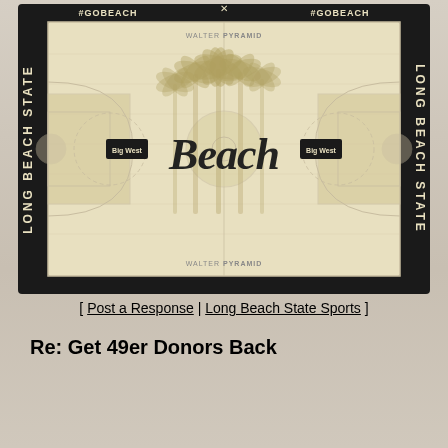[Figure (illustration): Long Beach State basketball court design rendering showing a wood-toned court with palm tree graphics in the center, 'Beach' written in large script in the middle, 'Big West' logos on both sides, 'LONG BEACH STATE' text vertically on both sidelines, '#GOBEACH' in corners, and 'WALTER PYRAMID' text near center circles. Black border surrounds the court.]
[ Post a Response | Long Beach State Sports ]
Re: Get 49er Donors Back